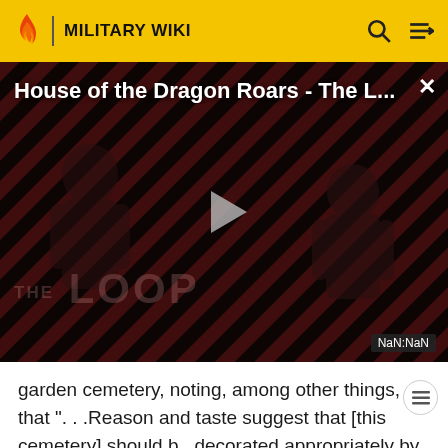MILITARY WIKI
[Figure (screenshot): Video player showing 'House of the Dragon Roars - The L...' with a play button, diagonal stripe background, THE LOOP text watermark, two silhouetted figures, and NaN:NaN timestamp. Close button (×) top right.]
garden cemetery, noting, among other things, that "...Reason and taste suggest that [this cemetery] should be decorated appropriately by the beautiful productions of our great Creator..."
Before the era of large municipal parks, it was common